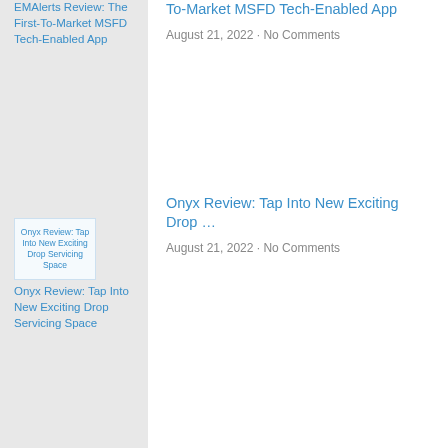EMAlerts Review: The First-To-Market MSFD Tech-Enabled App (left thumbnail text)
To-Market MSFD Tech-Enabled App
August 21, 2022 · No Comments
[Figure (photo): Thumbnail image for Onyx Review: Tap Into New Exciting Drop Servicing Space]
Onyx Review: Tap Into New Exciting Drop Servicing Space (left thumbnail text)
Onyx Review: Tap Into New Exciting Drop …
August 21, 2022 · No Comments